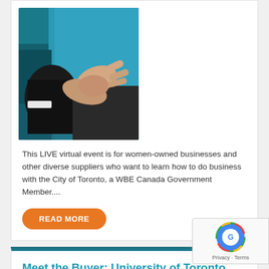[Figure (photo): Two people shaking hands over a teal/blue background, representing a business meeting or partnership]
This LIVE virtual event is for women-owned businesses and other diverse suppliers who want to learn how to do business with the City of Toronto, a WBE Canada Government Member....
READ MORE
Meet the Buyer: University of Toronto
April 26, 2022